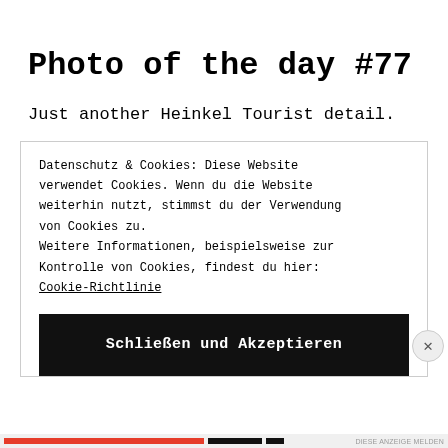Photo of the day #77
Just another Heinkel Tourist detail.
Datenschutz & Cookies: Diese Website verwendet Cookies. Wenn du die Website weiterhin nutzt, stimmst du der Verwendung von Cookies zu.
Weitere Informationen, beispielsweise zur Kontrolle von Cookies, findest du hier:
Cookie-Richtlinie
Schließen und Akzeptieren